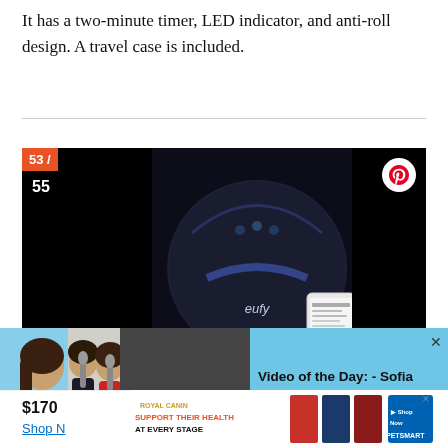It has a two-minute timer, LED indicator, and anti-roll design. A travel case is included.
[Figure (photo): Product image of Eufy robot vacuum cleaner (dark navy/black round robot) with a smartphone showing the app, set against a dark background. Left side shows '53 / 55' counter overlay. Right side has Pinterest share button and expand icon.]
[Figure (screenshot): Video overlay: 'Video of the Day: - Sofia Carson Watches Fan Covers on YouTube' with video thumbnail showing a woman in red and two people singing at microphones, with a close (X) button.]
$170
Shop N
[Figure (other): Royal Canin advertisement: 'SUPPORT THEIR HEALTH AT EVERY STAGE' with PetSmart logo and dog food product images.]